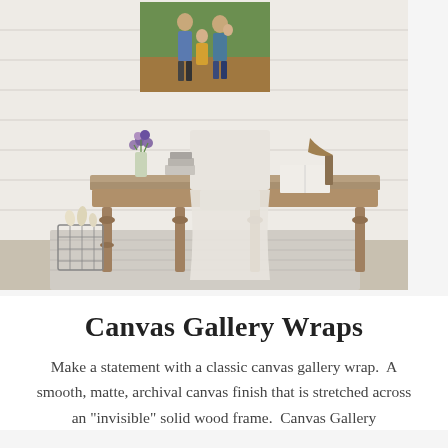[Figure (photo): Interior room scene showing a rustic wood desk with turned legs, a white slipcovered chair, a vase of wildflowers, stacked books, a brass desk lamp, and a wire basket with rolled papers on a woven rug. Above the desk on a shiplap wall hangs a framed family portrait photo of parents and two children outdoors.]
Canvas Gallery Wraps
Make a statement with a classic canvas gallery wrap.  A smooth, matte, archival canvas finish that is stretched across an "invisible" solid wood frame.  Canvas Gallery